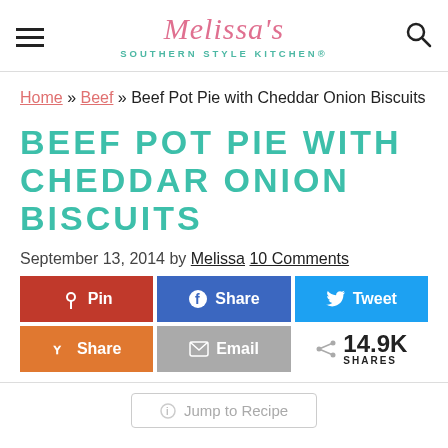Melissa's Southern Style Kitchen®
Home » Beef » Beef Pot Pie with Cheddar Onion Biscuits
BEEF POT PIE WITH CHEDDAR ONION BISCUITS
September 13, 2014 by Melissa 10 Comments
Pin | Share | Tweet | Share | Email | 14.9K SHARES